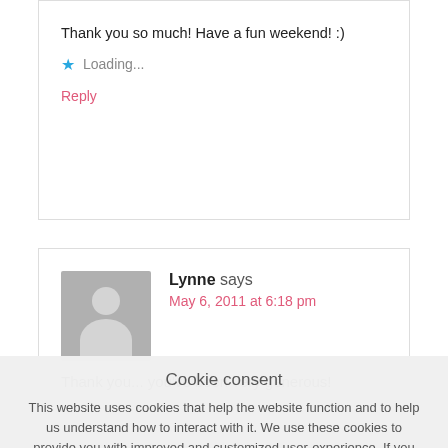Thank you so much! Have a fun weekend! :)
Loading...
Reply
Lynne says
May 6, 2011 at 6:18 pm
Thank you... you've been very generous!
Cookie consent
This website uses cookies that help the website function and to help us understand how to interact with it. We use these cookies to provide you with improved and customized user-experience. If you continue to the use of the website, we assume that you are okay with it. More
GOT IT